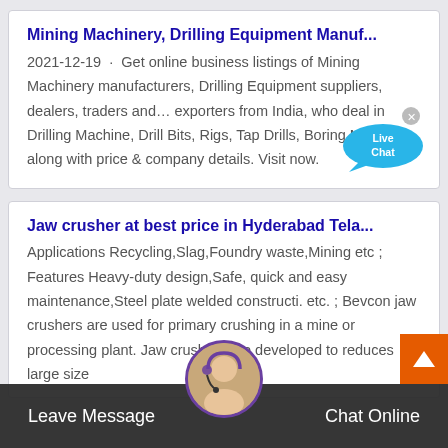Mining Machinery, Drilling Equipment Manuf...
2021-12-19 · Get online business listings of Mining Machinery manufacturers, Drilling Equipment suppliers, dealers, traders and… exporters from India, who deal in Drilling Machine, Drill Bits, Rigs, Tap Drills, Boring Machine, along with price & company details. Visit now.
Jaw crusher at best price in Hyderabad Tela...
Applications Recycling,Slag,Foundry waste,Mining etc ; Features Heavy-duty design,Safe, quick and easy maintenance,Steel plate welded constructi. etc. ; Bevcon jaw crushers are used for primary crushing in a mine or processing plant. Jaw crushers are developed to reduces large size